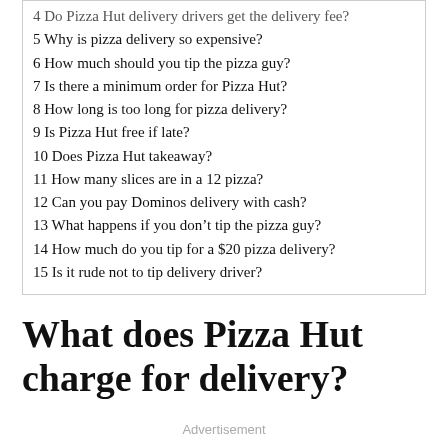4 Do Pizza Hut delivery drivers get the delivery fee?
5 Why is pizza delivery so expensive?
6 How much should you tip the pizza guy?
7 Is there a minimum order for Pizza Hut?
8 How long is too long for pizza delivery?
9 Is Pizza Hut free if late?
10 Does Pizza Hut takeaway?
11 How many slices are in a 12 pizza?
12 Can you pay Dominos delivery with cash?
13 What happens if you don't tip the pizza guy?
14 How much do you tip for a $20 pizza delivery?
15 Is it rude not to tip delivery driver?
What does Pizza Hut charge for delivery?
Advertisement